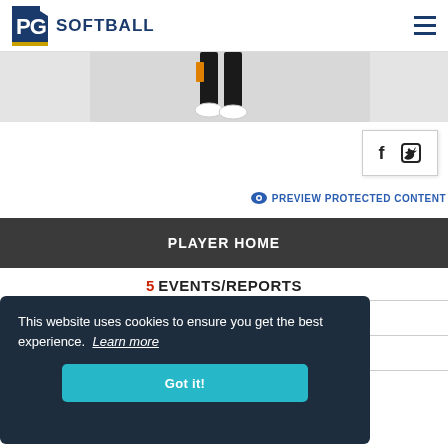PG SOFTBALL
[Figure (photo): Softball player legs/feet in action, partial view, orange and black uniform]
[Figure (other): Social media icons box with Facebook (f) and Twitter bird icons]
PREVIEW PROTECTED CONTENT
PLAYER HOME
5 EVENTS/REPORTS
This website uses cookies to ensure you get the best experience. Learn more
Got it!